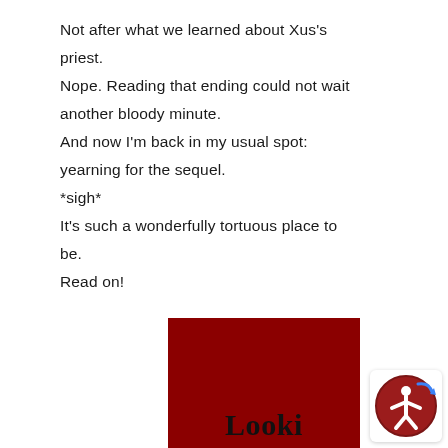Not after what we learned about Xus's priest.
Nope. Reading that ending could not wait another bloody minute.
And now I'm back in my usual spot: yearning for the sequel.
*sigh*
It's such a wonderfully tortuous place to be.
Read on!
[Figure (illustration): Book cover showing a dark red / maroon background with the partial word 'Looki' visible in large bold serif black font at the bottom.]